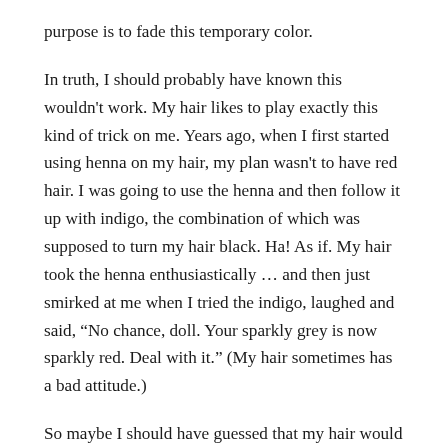purpose is to fade this temporary color.
In truth, I should probably have known this wouldn't work. My hair likes to play exactly this kind of trick on me. Years ago, when I first started using henna on my hair, my plan wasn't to have red hair. I was going to use the henna and then follow it up with indigo, the combination of which was supposed to turn my hair black. Ha! As if. My hair took the henna enthusiastically … and then just smirked at me when I tried the indigo, laughed and said, “No chance, doll. Your sparkly grey is now sparkly red. Deal with it.” (My hair sometimes has a bad attitude.)
So maybe I should have guessed that my hair would hang onto the color I wanted it to release. I have plenty of grey,